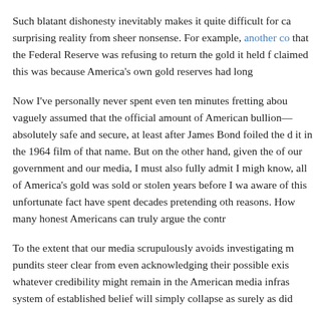Such blatant dishonesty inevitably makes it quite difficult for ca surprising reality from sheer nonsense. For example, another co that the Federal Reserve was refusing to return the gold it held f claimed this was because America's own gold reserves had long
Now I've personally never spent even ten minutes fretting abou vaguely assumed that the official amount of American bullion— absolutely safe and secure, at least after James Bond foiled the d it in the 1964 film of that name. But on the other hand, given the of our government and our media, I must also fully admit I migh know, all of America's gold was sold or stolen years before I wa aware of this unfortunate fact have spent decades pretending oth reasons. How many honest Americans can truly argue the contr
To the extent that our media scrupulously avoids investigating m pundits steer clear from even acknowledging their possible exis whatever credibility might remain in the American media infras system of established belief will simply collapse as surely as did